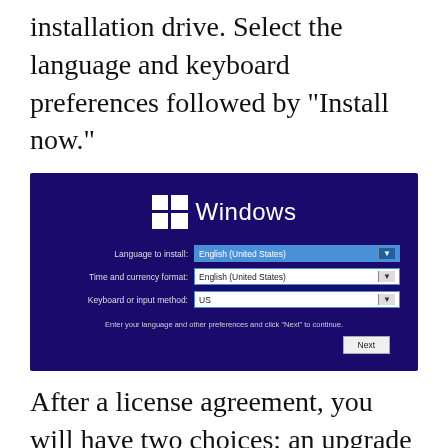installation drive. Select the language and keyboard preferences followed by "Install now."
[Figure (screenshot): Windows installation setup screen with dark blue background. Shows the Windows logo at top center, and three dropdown fields: Language to install (English (United States) highlighted in blue), Time and currency format (English (United States)), and Keyboard or input method (US). A hint text reads 'Enter your language and other preferences and click "Next" to continue.' A 'Next' button appears at bottom right.]
After a license agreement, you will have two choices: an upgrade or a custom install, which